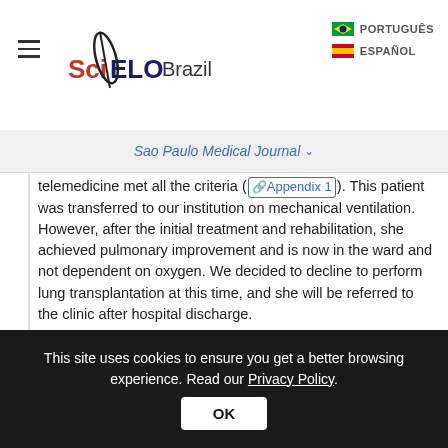SciELO Brazil | PORTUGUÊS | ESPAÑOL
Sao Paulo Medical Journal ∨
telemedicine met all the criteria ( Appendix 1 ). This patient was transferred to our institution on mechanical ventilation. However, after the initial treatment and rehabilitation, she achieved pulmonary improvement and is now in the ward and not dependent on oxygen. We decided to decline to perform lung transplantation at this time, and she will be referred to the clinic after hospital discharge.

During the pandemic, 33 cases of lung transplantation were performed and three of these
This site uses cookies to ensure you get a better browsing experience. Read our Privacy Policy. OK